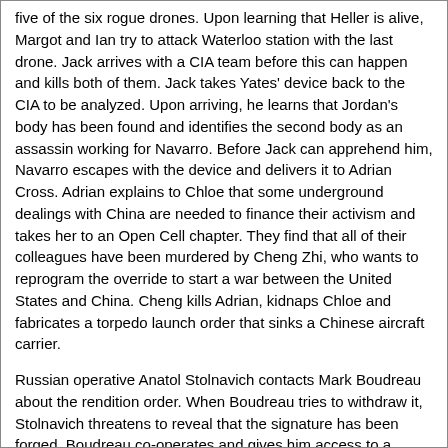five of the six rogue drones. Upon learning that Heller is alive, Margot and Ian try to attack Waterloo station with the last drone. Jack arrives with a CIA team before this can happen and kills both of them. Jack takes Yates' device back to the CIA to be analyzed. Upon arriving, he learns that Jordan's body has been found and identifies the second body as an assassin working for Navarro. Before Jack can apprehend him, Navarro escapes with the device and delivers it to Adrian Cross. Adrian explains to Chloe that some underground dealings with China are needed to finance their activism and takes her to an Open Cell chapter. They find that all of their colleagues have been murdered by Cheng Zhi, who wants to reprogram the override to start a war between the United States and China. Cheng kills Adrian, kidnaps Chloe and fabricates a torpedo launch order that sinks a Chinese aircraft carrier.
Russian operative Anatol Stolnavich contacts Mark Boudreau about the rendition order. When Boudreau tries to withdraw it, Stolnavich threatens to reveal that the signature has been forged. Boudreau co-operates and gives him access to a frequency used by Bauer. As a result, Jack is attacked by Russians on his way to retrieve the override and Cheng has time to escape. Upon discovering that his encrypted frequency was given to the Russians from within the White House, Bauer confronts Boudreau and tells him